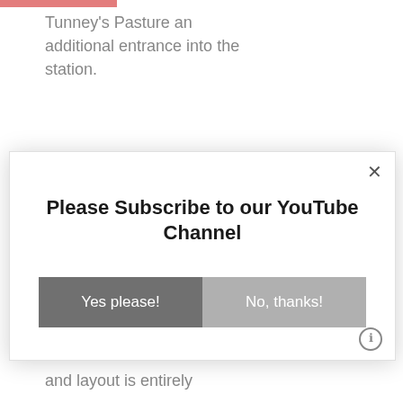Tunney's Pasture an additional entrance into the station.
As the station is the western terminus of the Confederation Line, the
Please Subscribe to our YouTube Channel
Yes please!
No, thanks!
and layout is entirely